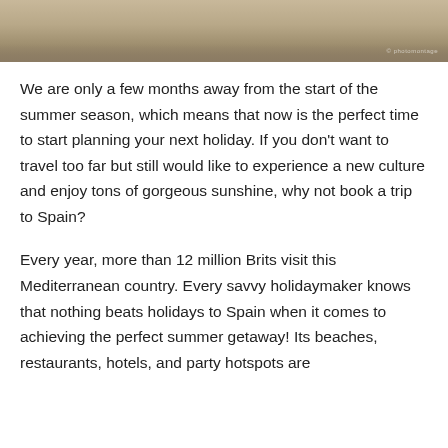[Figure (photo): Partial photo showing sandy beach and clothing, cropped at top of page with watermark text visible in bottom-right corner]
We are only a few months away from the start of the summer season, which means that now is the perfect time to start planning your next holiday. If you don't want to travel too far but still would like to experience a new culture and enjoy tons of gorgeous sunshine, why not book a trip to Spain?
Every year, more than 12 million Brits visit this Mediterranean country. Every savvy holidaymaker knows that nothing beats holidays to Spain when it comes to achieving the perfect summer getaway! Its beaches, restaurants, hotels, and party hotspots are